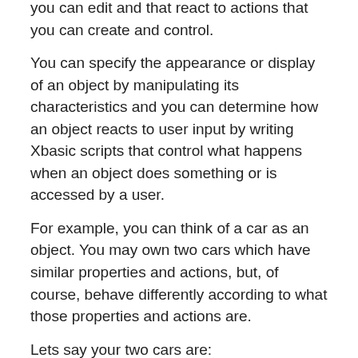you can edit and that react to actions that you can create and control.
You can specify the appearance or display of an object by manipulating its characteristics and you can determine how an object reacts to user input by writing Xbasic scripts that control what happens when an object does something or is accessed by a user.
For example, you can think of a car as an object. You may own two cars which have similar properties and actions, but, of course, behave differently according to what those properties and actions are.
Lets say your two cars are:
Car1: Ford Focus
Car2: Masserati
Now, both of these are objects are particular objects of a